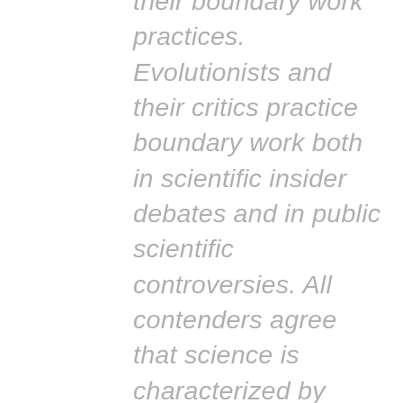their boundary work practices. Evolutionists and their critics practice boundary work both in scientific insider debates and in public scientific controversies. All contenders agree that science is characterized by authority relations and disciplinary gatekeepers and that science is distinguished from other social practices and by a certain code of conduct. Evolutionists and their critics differ in their assessment of